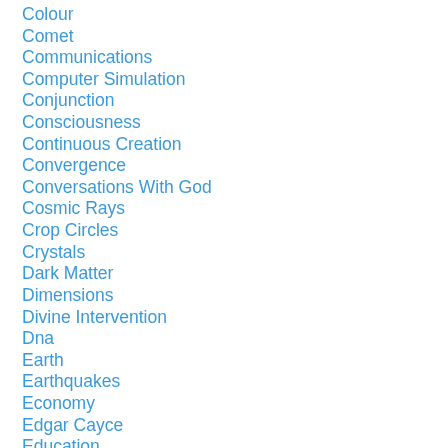Colour
Comet
Communications
Computer Simulation
Conjunction
Consciousness
Continuous Creation
Convergence
Conversations With God
Cosmic Rays
Crop Circles
Crystals
Dark Matter
Dimensions
Divine Intervention
Dna
Earth
Earthquakes
Economy
Edgar Cayce
Education